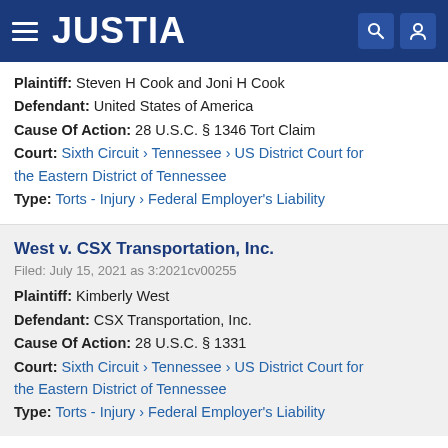JUSTIA
Plaintiff: Steven H Cook and Joni H Cook
Defendant: United States of America
Cause Of Action: 28 U.S.C. § 1346 Tort Claim
Court: Sixth Circuit › Tennessee › US District Court for the Eastern District of Tennessee
Type: Torts - Injury › Federal Employer's Liability
West v. CSX Transportation, Inc.
Filed: July 15, 2021 as 3:2021cv00255
Plaintiff: Kimberly West
Defendant: CSX Transportation, Inc.
Cause Of Action: 28 U.S.C. § 1331
Court: Sixth Circuit › Tennessee › US District Court for the Eastern District of Tennessee
Type: Torts - Injury › Federal Employer's Liability